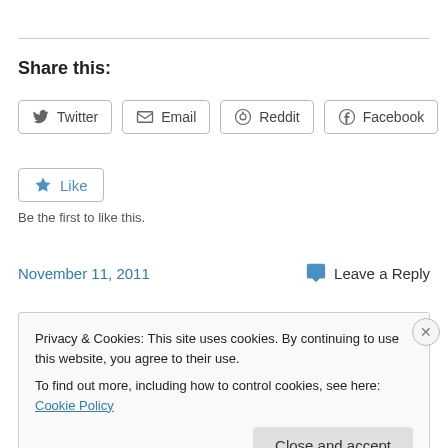Share this:
Twitter  Email  Reddit  Facebook
Like
Be the first to like this.
November 11, 2011
Leave a Reply
Privacy & Cookies: This site uses cookies. By continuing to use this website, you agree to their use.
To find out more, including how to control cookies, see here: Cookie Policy
Close and accept